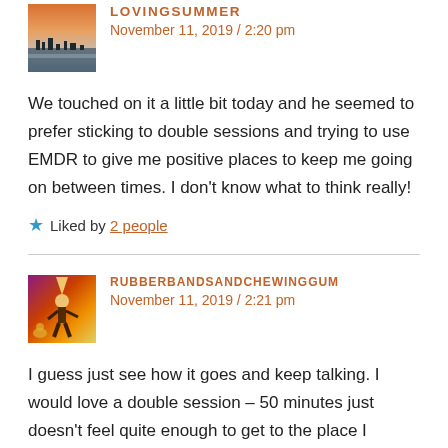[Figure (photo): Avatar image for LOVINGSUMMER - small sunset/landscape photo]
LOVINGSUMMER
November 11, 2019 / 2:20 pm
We touched on it a little bit today and he seemed to prefer sticking to double sessions and trying to use EMDR to give me positive places to keep me going on between times. I don't know what to think really!
★ Liked by 2 people
[Figure (illustration): Avatar image for RUBBERBANDSANDCHEWINGGUM - colorful figure/fire illustration]
RUBBERBANDSANDCHEWINGGUM
November 11, 2019 / 2:21 pm
I guess just see how it goes and keep talking. I would love a double session – 50 minutes just doesn't feel quite enough to get to the place I